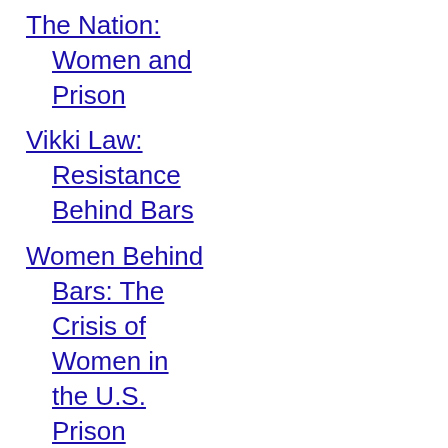The Nation: Women and Prison
Vikki Law: Resistance Behind Bars
Women Behind Bars: The Crisis of Women in the U.S. Prison System
Women's Voices: Advocacy by Criminal Justice-